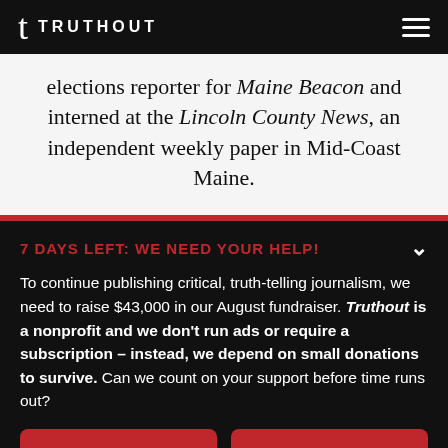TRUTHOUT
elections reporter for Maine Beacon and interned at the Lincoln County News, an independent weekly paper in Mid-Coast Maine.
7 DAYS LEFT: WE NEED YOUR HELP!
To continue publishing critical, truth-telling journalism, we need to raise $43,000 in our August fundraiser. Truthout is a nonprofit and we don't run ads or require a subscription – instead, we depend on small donations to survive. Can we count on your support before time runs out?
DONATE
DONATE MONTHLY